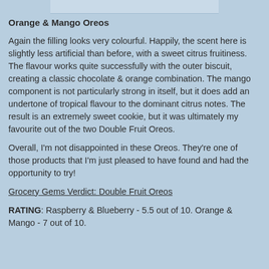[Figure (photo): Partial image of cookies at the top of the page]
Orange & Mango Oreos
Again the filling looks very colourful. Happily, the scent here is slightly less artificial than before, with a sweet citrus fruitiness. The flavour works quite successfully with the outer biscuit, creating a classic chocolate & orange combination. The mango component is not particularly strong in itself, but it does add an undertone of tropical flavour to the dominant citrus notes. The result is an extremely sweet cookie, but it was ultimately my favourite out of the two Double Fruit Oreos.
Overall, I'm not disappointed in these Oreos. They're one of those products that I'm just pleased to have found and had the opportunity to try!
Grocery Gems Verdict: Double Fruit Oreos
RATING: Raspberry & Blueberry - 5.5 out of 10. Orange & Mango - 7 out of 10.